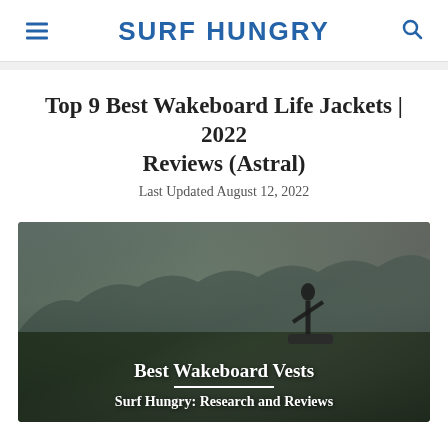SURF HUNGRY
Top 9 Best Wakeboard Life Jackets | 2022 Reviews (Astral)
Last Updated August 12, 2022
[Figure (photo): Hero image of a wakeboarder holding a board at dusk with forested hills in the background, overlaid with text 'Best Wakeboard Vests' and 'Surf Hungry: Research and Reviews']